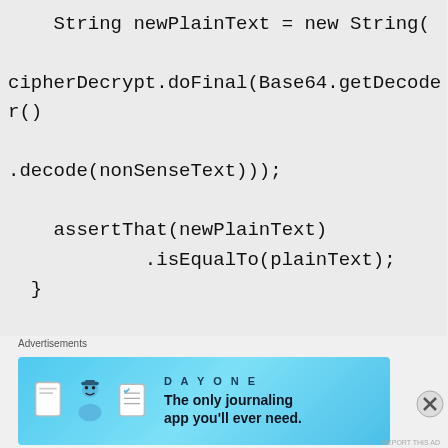String newPlainText = new String(

cipherDecrypt.doFinal(Base64.getDecode
r()

.decode(nonSenseText)));

    assertThat(newPlainText)
            .isEqualTo(plainText);
  }

  @Test
  public void
encryptWithPrivateKey_decryptWithPubli
[Figure (other): Advertisement banner for Day One journaling app with blue background, app icons, and tagline 'The only journaling app you'll ever need.']